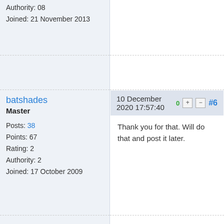Authority: 08
Joined: 21 November 2013
batshades
Master
Posts: 38
Points: 67
Rating: 2
Authority: 2
Joined: 17 October 2009
10 December 2020 17:57:40  0 + - #6
Thank you for that. Will do that and post it later.
John Madura
User
10 December 2020 21:01:47  0 + - #7